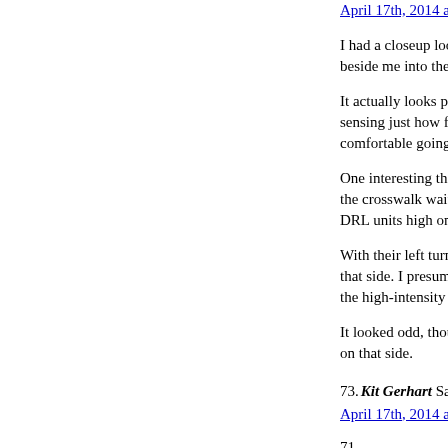April 17th, 2014 at 11:20 am
I had a closeup look at a beside me into the left-tu
It actually looks pretty goo sensing just how far to ta comfortable going withou
One interesting thing I no the crosswalk waiting for DRL units high on the fro
With their left turn signal that side. I presume that the high-intensity LEDs o
It looked odd, though, as on that side.
73. Kit Gerhart Says:
April 17th, 2014 at 11:23 am
71,
I think the Challenger loo
74. HtG Says:
April 17th, 2014 at 11:33 am
I've learned to wait until decide anything. That doe but photographs is all the short of having it come at sun bouncing off it at infi